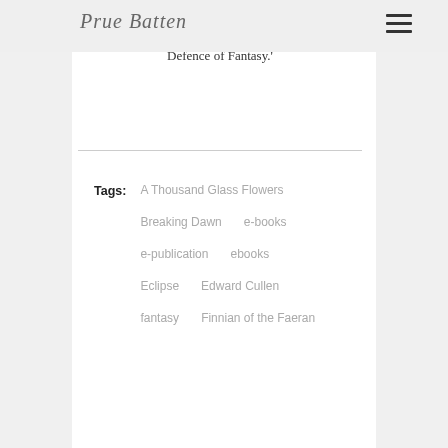Prue Batten
world whose joys and sorrows are our own. Beautifully done.'"– Ann Swinfen, author of In Defence of Fantasy.'
Tags: A Thousand Glass Flowers   Breaking Dawn   e-books   e-publication   ebooks   Eclipse   Edward Cullen   fantasy   Finnian of the Faeran